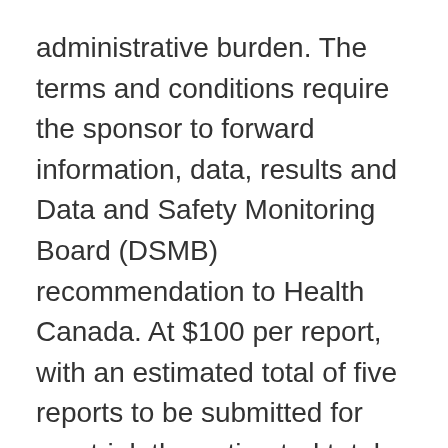administrative burden. The terms and conditions require the sponsor to forward information, data, results and Data and Safety Monitoring Board (DSMB) recommendation to Health Canada. At $100 per report, with an estimated total of five reports to be submitted for one trial, the estimated total cost is $500 (2021 dollars). For the purpose of the one-for-one rule, the administrative burden cost is assumed to be incurred for only one year and real values in 2012 price levels are used representing $89 (2012 dollars) per report. The annualized administrative cost is